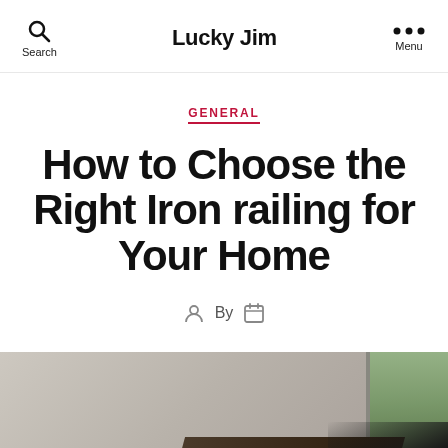Lucky Jim
GENERAL
How to Choose the Right Iron railing for Your Home
By
[Figure (photo): Interior room photo showing a light-colored wall with a window letting in natural light, and a dark wooden floor or furniture element in the lower right corner.]